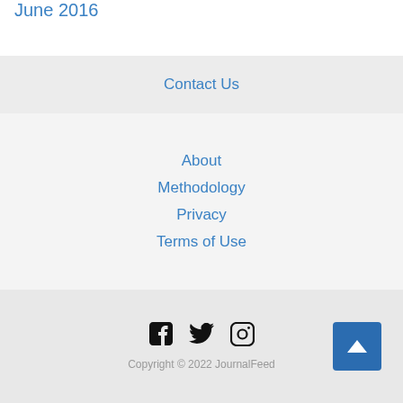June 2016
Contact Us
About
Methodology
Privacy
Terms of Use
[Figure (infographic): Social media icons: Facebook, Twitter, Instagram]
Copyright © 2022 JournalFeed